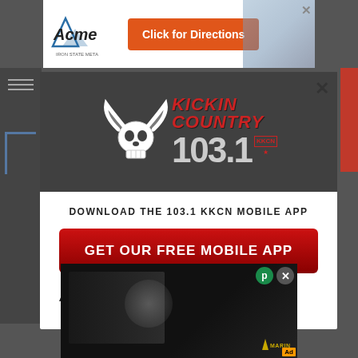[Figure (screenshot): Website screenshot showing an advertisement banner at the top for Acme with a 'Click for Directions' orange button, and a modal popup for Kickin Country 103.1 KKCN radio station app download prompt]
DOWNLOAD THE 103.1 KKCN MOBILE APP
GET OUR FREE MOBILE APP
Also listen on: amazon alexa
[Figure (screenshot): Bottom video advertisement showing military/Marines footage with close and P buttons]